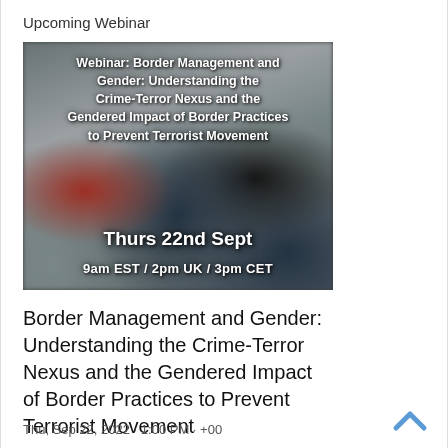Upcoming Webinar
[Figure (photo): Webinar promotional image showing blurred crowd of people at a border crossing with overlaid text: 'Webinar: Border Management and Gender: Understanding the Crime-Terror Nexus and the Gendered Impact of Border Practices to Prevent Terrorist Movement', date 'Thurs 22nd Sept', times '9am EST / 2pm UK / 3pm CET']
Border Management and Gender: Understanding the Crime-Terror Nexus and the Gendered Impact of Border Practices to Prevent Terrorist Movement
Thu, Sep 22, 2022 · 1:00 PM · +00